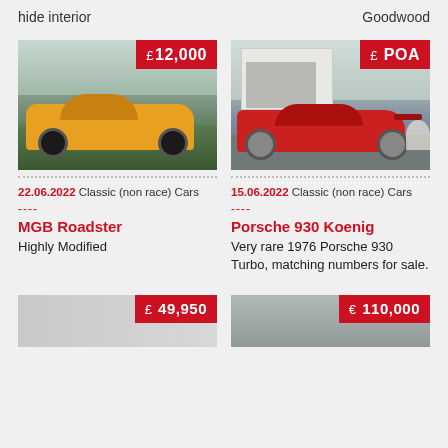hide interior
Goodwood
[Figure (photo): Yellow MGB Roadster car parked on grass, with red price badge showing £12,000]
22.06.2022 Classic (non race) Cars
----
MGB Roadster
Highly Modified
[Figure (photo): Red Porsche 930 Koenig parked on driveway, with red price badge showing £ POA]
15.06.2022 Classic (non race) Cars
----
Porsche 930 Koenig
Very rare 1976 Porsche 930 Turbo, matching numbers for sale.
[Figure (photo): Partial bottom car image with red price badge showing £ 49,950]
[Figure (photo): Partial bottom car image with red price badge showing € 110,000]